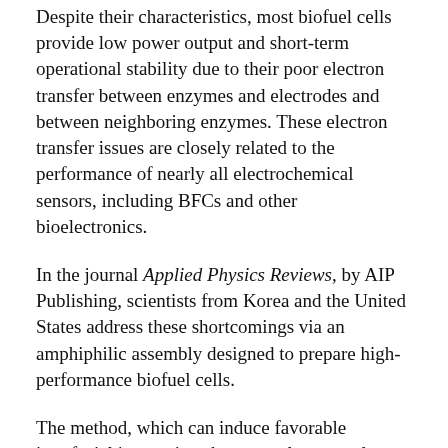Despite their characteristics, most biofuel cells provide low power output and short-term operational stability due to their poor electron transfer between enzymes and electrodes and between neighboring enzymes. These electron transfer issues are closely related to the performance of nearly all electrochemical sensors, including BFCs and other bioelectronics.
In the journal Applied Physics Reviews, by AIP Publishing, scientists from Korea and the United States address these shortcomings via an amphiphilic assembly designed to prepare high-performance biofuel cells.
The method, which can induce favorable interfacial interactions between electrocatalysts and significantly improve the electron transfer kinetics of electrodes, generated hybrid biofuel cells with high power output